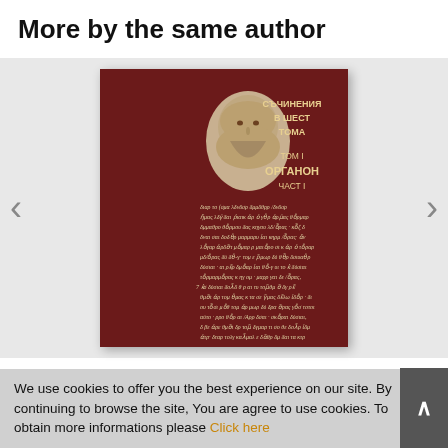More by the same author
[Figure (photo): Book cover of Aristotle's works in Bulgarian: АРИСТОТЕЛ - СЪЧИНЕНИЯ В ШЕСТ ТОМА, ТОМ I, ОРГАНОН, ЧАСТ I. Dark red/maroon cover with gold vertical text on spine, bust of Aristotle, and Greek manuscript text.]
We use cookies to offer you the best experience on our site. By continuing to browse the site, You are agree to use cookies. To obtain more informations please Click here